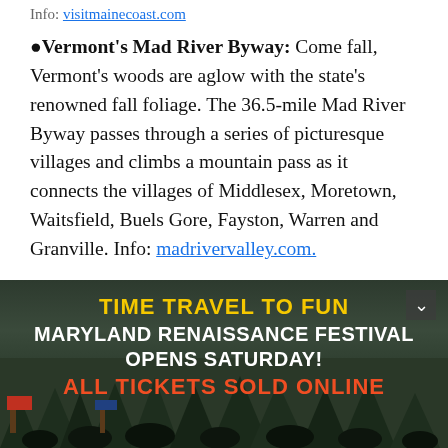Info: visitmainecoast.com
Vermont's Mad River Byway: Come fall, Vermont's woods are aglow with the state's renowned fall foliage. The 36.5-mile Mad River Byway passes through a series of picturesque villages and climbs a mountain pass as it connects the villages of Middlesex, Moretown, Waitsfield, Buels Gore, Fayston, Warren and Granville. Info: madrivervalley.com.
New Hampshire's Kancamagus Highway: Locals call this 34.5-mile highway "the Kank," and are just as likely to be found on the road as tourists come foliage...
[Figure (photo): Advertisement banner for Maryland Renaissance Festival featuring crowd of people in renaissance costumes with forest background. Text reads: TIME TRAVEL TO FUN / MARYLAND RENAISSANCE FESTIVAL OPENS SATURDAY! / ALL TICKETS SOLD ONLINE]